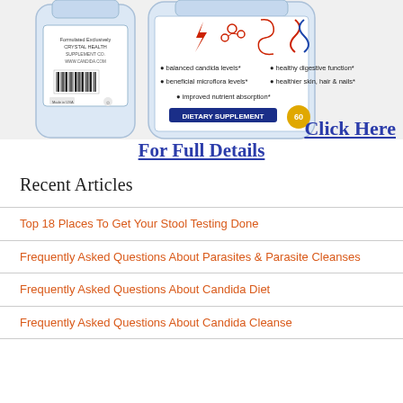[Figure (photo): Product photo of two supplement bottles labeled as dietary supplement (Candida supplement), one showing the front and the other the back with icons and text about balanced candida levels, healthy digestive function, beneficial microflora levels, healthier skin hair and nails, improved nutrient absorption. DIETARY SUPPLEMENT label visible with 60 tablets.]
Click Here
For Full Details
Recent Articles
Top 18 Places To Get Your Stool Testing Done
Frequently Asked Questions About Parasites & Parasite Cleanses
Frequently Asked Questions About Candida Diet
Frequently Asked Questions About Candida Cleanse